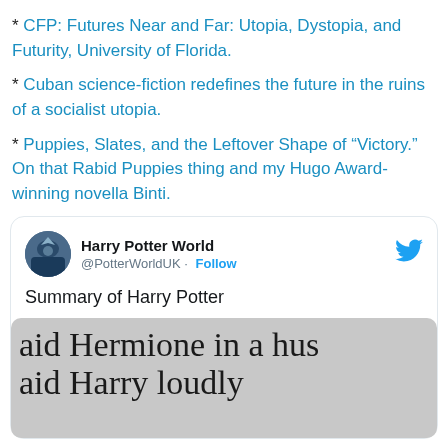* CFP: Futures Near and Far: Utopia, Dystopia, and Futurity, University of Florida.
* Cuban science-fiction redefines the future in the ruins of a socialist utopia.
* Puppies, Slates, and the Leftover Shape of “Victory.” On that Rabid Puppies thing and my Hugo Award-winning novella Binti.
[Figure (screenshot): Embedded tweet from Harry Potter World (@PotterWorldUK) with text 'Summary of Harry Potter' and an image showing text 'aid Hermione in a husk' and 'aid Harry loudly' in a serif font on a gray background.]